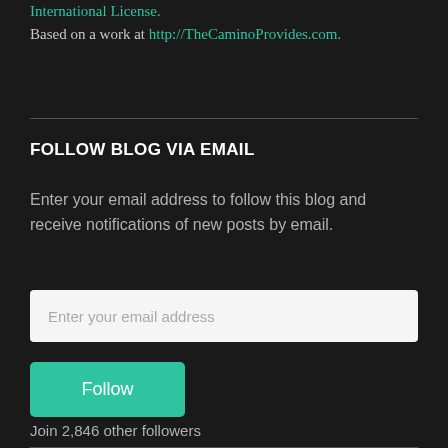International License. Based on a work at http://TheCaminoProvides.com.
FOLLOW BLOG VIA EMAIL
Enter your email address to follow this blog and receive notifications of new posts by email.
Enter your email address
Follow
Join 2,846 other followers